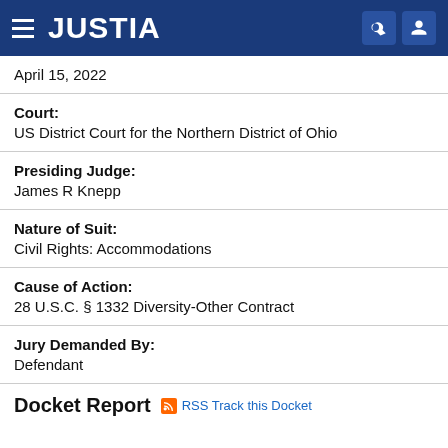JUSTIA
April 15, 2022
Court: US District Court for the Northern District of Ohio
Presiding Judge: James R Knepp
Nature of Suit: Civil Rights: Accommodations
Cause of Action: 28 U.S.C. § 1332 Diversity-Other Contract
Jury Demanded By: Defendant
Docket Report